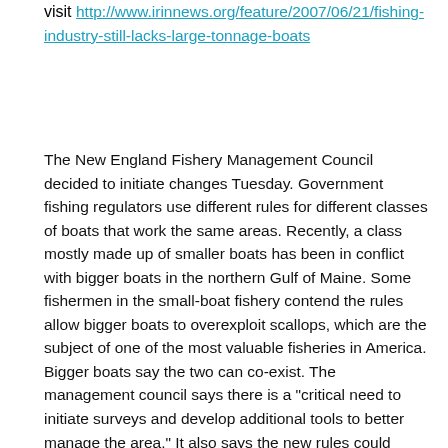visit http://www.irinnews.org/feature/2007/06/21/fishing-industry-still-lacks-large-tonnage-boats
The New England Fishery Management Council decided to initiate changes Tuesday. Government fishing regulators use different rules for different classes of boats that work the same areas. Recently, a class mostly made up of smaller boats has been in conflict with bigger boats in the northern Gulf of Maine. Some fishermen in the small-boat fishery contend the rules allow bigger boats to overexploit scallops, which are the subject of one of the most valuable fisheries in America. Bigger boats say the two can co-exist. The management council says there is a "critical need to initiate surveys and develop additional tools to better manage the area." It also says the new rules could include limiting some boats from fishing in the area until the total scallop population can be more accurately determined. Crafting new rules will likely take months, and they might not be finished before next year's scallop season begins in April. "The process was started, but now the real work begins," said Togue Brawn, who runs a scallop business called Downeast Dayboat. Hemade noted for small-boat fishermen. The